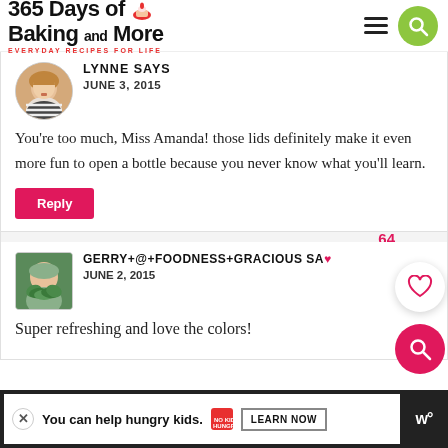365 Days of Baking and More – EVERYDAY RECIPES FOR LIFE
LYNNE SAYS
JUNE 3, 2015
You're too much, Miss Amanda! those lids definitely make it even more fun to open a bottle because you never know what you'll learn.
Reply
64
GERRY+@+FOODNESS+GRACIOUS SAYS
JUNE 2, 2015
Super refreshing and love the colors!
You can help hungry kids. | NO KID HUNGRY | LEARN NOW